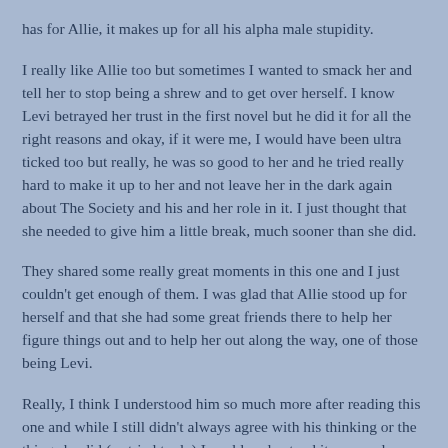has for Allie, it makes up for all his alpha male stupidity.
I really like Allie too but sometimes I wanted to smack her and tell her to stop being a shrew and to get over herself. I know Levi betrayed her trust in the first novel but he did it for all the right reasons and okay, if it were me, I would have been ultra ticked too but really, he was so good to her and he tried really hard to make it up to her and not leave her in the dark again about The Society and his and her role in it. I just thought that she needed to give him a little break, much sooner than she did.
They shared some really great moments in this one and I just couldn't get enough of them. I was glad that Allie stood up for herself and that she had some great friends there to help her figure things out and to help her out along the way, one of those being Levi.
Really, I think I understood him so much more after reading this one and while I still didn't always agree with his thinking or the things he did (or tried to do) I could understand it now and accept it more.